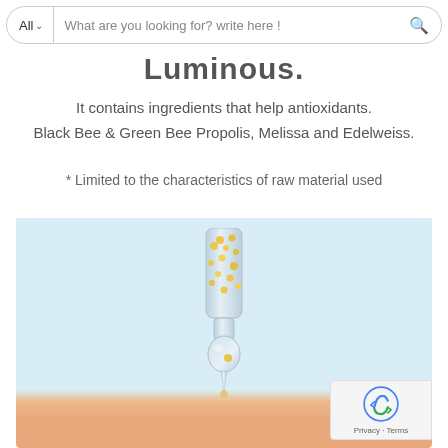All  What are you looking for? write here !
Luminous.
It contains ingredients that help antioxidants.
Black Bee & Green Bee Propolis, Melissa and Edelweiss.
* Limited to the characteristics of raw material used
[Figure (photo): A clear dropper/pipette with golden particles inside, dripping onto skin against a light blue background. A reCAPTCHA badge is visible in the lower right corner.]